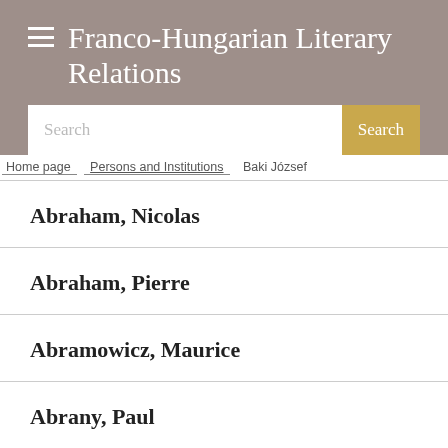Franco-Hungarian Literary Relations
Search
Home page / Persons and Institutions / Baki József
Abraham, Nicolas
Abraham, Pierre
Abramowicz, Maurice
Abrany, Paul